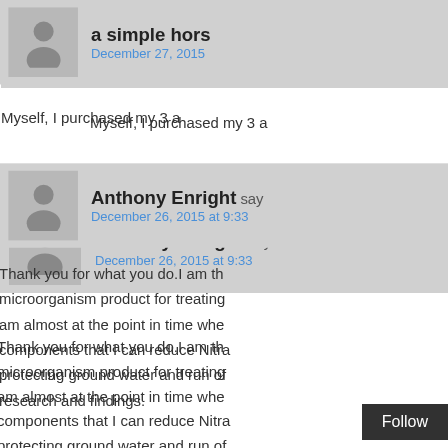a simple hors
December 27, 2015
Myself, I purchased my 3 a
Anthony Enright says
December 26, 2015 at 9:33
Thank you for what you do.I am th microorganism product for treating am almost at the point in time whe components that I can reduce Nitra protecting ground water and run of research and findings.
Dennie Mehocich sa
December 26, 2015 at 9:30
I'm wondering exactly when the M. vast ocean of oil. M